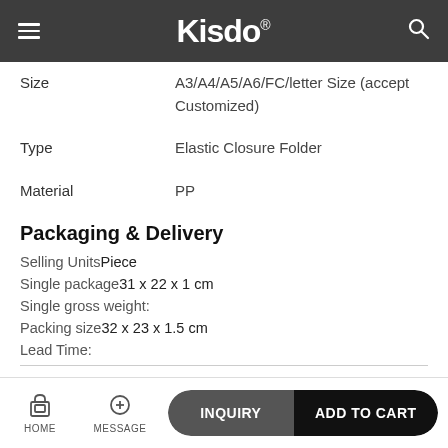Kisdo
| Property | Value |
| --- | --- |
| Size | A3/A4/A5/A6/FC/letter Size (accept Customized) |
| Type | Elastic Closure Folder |
| Material | PP |
Packaging & Delivery
Selling Units: Piece
Single package: 31 x 22 x 1 cm
Single gross weight:
Packing size: 32 x 23 x 1.5 cm
Lead Time:
HOME | MESSAGE | INQUIRY | ADD TO CART